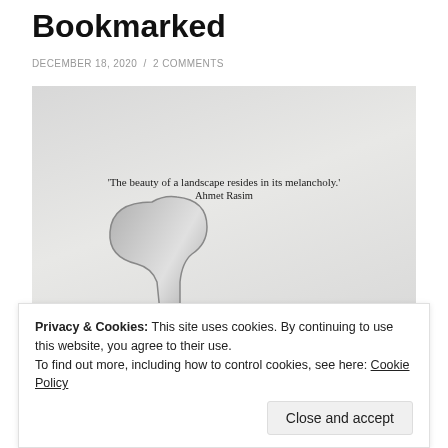Bookmarked
DECEMBER 18, 2020 / 2 COMMENTS
[Figure (photo): A photograph of an open book page showing a quote 'The beauty of a landscape resides in its melancholy.' by Ahmet Rasim, with a metal bookmark resting on the page.]
Privacy & Cookies: This site uses cookies. By continuing to use this website, you agree to their use.
To find out more, including how to control cookies, see here: Cookie Policy
Close and accept